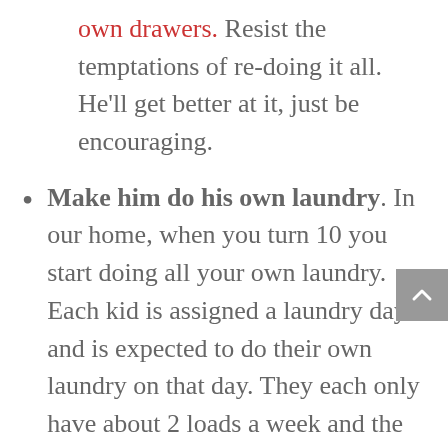own drawers. Resist the temptations of re-doing it all. He'll get better at it, just be encouraging.
Make him do his own laundry. In our home, when you turn 10 you start doing all your own laundry. Each kid is assigned a laundry day and is expected to do their own laundry on that day. They each only have about 2 loads a week and the washer can be adjusted for a small load or larger load {they toss in a load before school and another after school}. But it usually comes out to about the same as what I